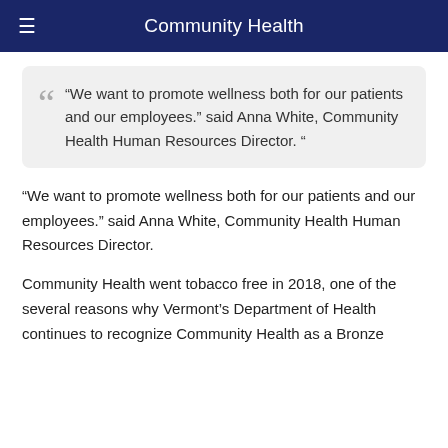Community Health
“We want to promote wellness both for our patients and our employees.” said Anna White, Community Health Human Resources Director. ”
“We want to promote wellness both for our patients and our employees.” said Anna White, Community Health Human Resources Director.
Community Health went tobacco free in 2018, one of the several reasons why Vermont’s Department of Health continues to recognize Community Health as a Bronze